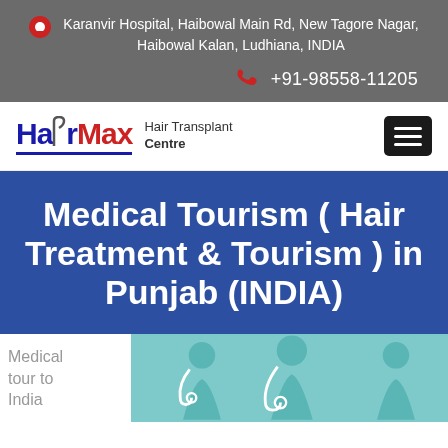Karanvir Hospital, Haibowal Main Rd, New Tagore Nagar, Haibowal Kalan, Ludhiana, INDIA
+91-98558-11205
[Figure (logo): Hair Max Hair Transplant Centre logo with blue and red text and underline]
Medical Tourism ( Hair Treatment & Tourism ) in Punjab (INDIA)
Medical tour to India